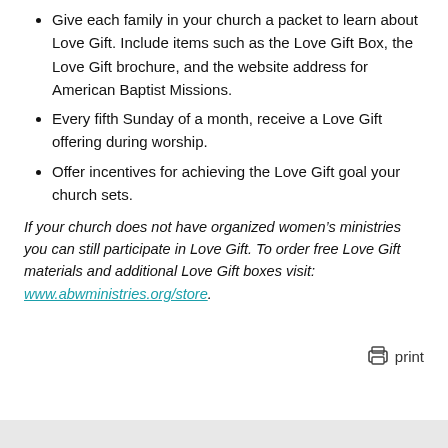Give each family in your church a packet to learn about Love Gift. Include items such as the Love Gift Box, the Love Gift brochure, and the website address for American Baptist Missions.
Every fifth Sunday of a month, receive a Love Gift offering during worship.
Offer incentives for achieving the Love Gift goal your church sets.
If your church does not have organized women’s ministries you can still participate in Love Gift. To order free Love Gift materials and additional Love Gift boxes visit:
www.abwministries.org/store.
print